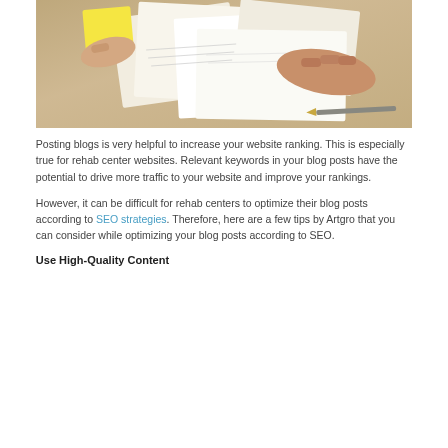[Figure (photo): Overhead view of hands working at a desk with papers, documents, and a yellow sticky note on a wooden table surface]
Posting blogs is very helpful to increase your website ranking. This is especially true for rehab center websites. Relevant keywords in your blog posts have the potential to drive more traffic to your website and improve your rankings.
However, it can be difficult for rehab centers to optimize their blog posts according to SEO strategies. Therefore, here are a few tips by Artgro that you can consider while optimizing your blog posts according to SEO.
Use High-Quality Content